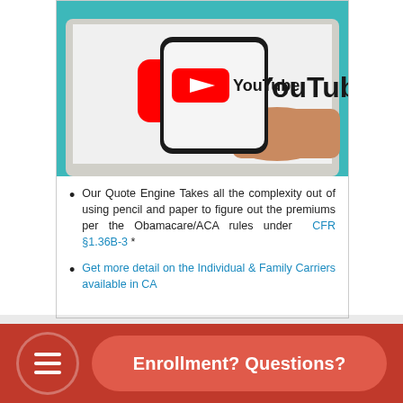[Figure (photo): A hand holding a smartphone displaying the YouTube logo in front of a laptop screen also showing the YouTube logo. Teal background visible.]
Our Quote Engine Takes all the complexity out of using pencil and paper to figure out the premiums per the Obamacare/ACA rules under CFR §1.36B-3 *
Get more detail on the Individual & Family Carriers available in CA
Enrollment? Questions?